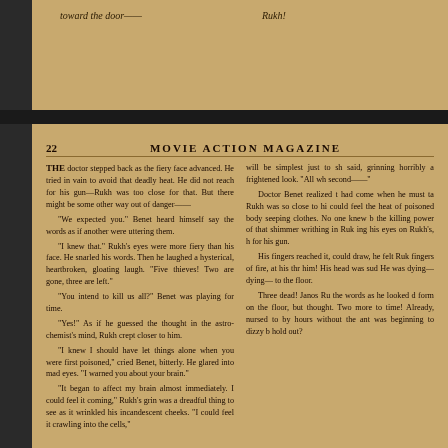toward the door——
Rukh!
22    MOVIE ACTION MAGAZINE
THE doctor stepped back as the fiery face advanced. He tried in vain to avoid that deadly heat. He did not reach for his gun—Rukh was too close for that. But there might be some other way out of danger——
"We expected you." Benet heard himself say the words as if another were uttering them.
"I knew that." Rukh's eyes were more fiery than his face. He snarled his words. Then he laughed a hysterical, heartbroken, gloating laugh. "Five thieves! Two are gone, three are left."
"You intend to kill us all?" Benet was playing for time.
"Yes!" As if he guessed the thought in the astro-chemist's mind, Rukh crept closer to him.
"I knew I should have let things alone when you were first poisoned," cried Benet, bitterly. He glared into mad eyes. "I warned you about your brain."
"It began to affect my brain almost immediately. I could feel it coming," Rukh's grin was a dreadful thing to see as it wrinkled his incandescent cheeks. "I could feel it crawling into the cells,"
will be simplest just to sh said, grinning horribly a frightened look. "All wh second——"
Doctor Benet realized t had come when he must ta Rukh was so close to hi could feel the heat of poisoned body seeping clothes. No one knew b the killing power of that shimmer writhing in Ruk ing his eyes on Rukh's, h for his gun.
His fingers reached it, could draw, he felt Ruk fingers of fire, at his thr him! His head was sud He was dying—dying— to the floor.
Three dead! Janos Ru the words as he looked d form on the floor, but thought. Two more to time! Already, nursed to by hours without the ant was beginning to dizzy b hold out?